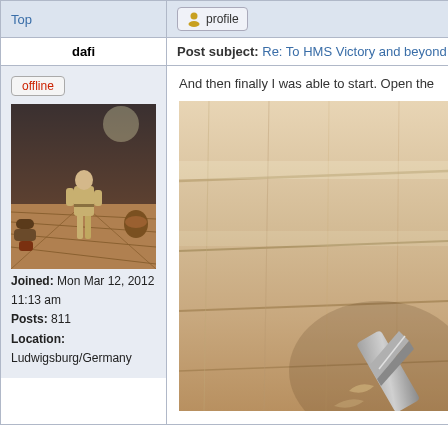Top
profile
dafi
Post subject: Re: To HMS Victory and beyond
offline
[Figure (photo): Photo of a model figure (sailor in khaki uniform) standing on the wooden deck of a ship model, viewed from a low angle with cannons and barrels visible in background]
Joined: Mon Mar 12, 2012 11:13 am
Posts: 811
Location: Ludwigsburg/Germany
And then finally I was able to start. Open the
[Figure (photo): Close-up photo of a light-coloured wooden plank surface being worked on with a metal tool, showing wood grain and plank joints]